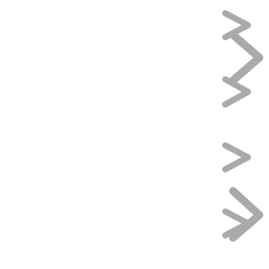[Figure (other): Four gray right-pointing chevron arrows arranged vertically along the right side of the page, evenly spaced.]